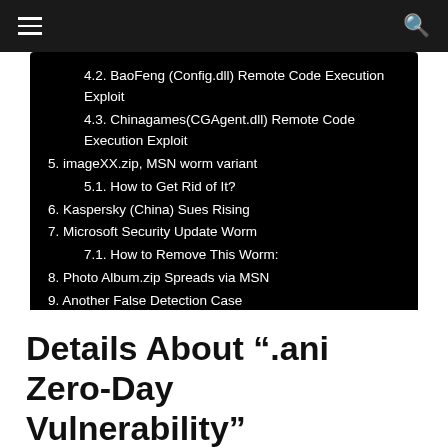☰  🔍
4.2. BaoFeng (Config.dll) Remote Code Execution Exploit
4.3. Chinagames(CGAgent.dll) Remote Code Execution Exploit
5. imageXX.zip, MSN worm variant
5.1. How to Get Rid of It?
6. Kaspersky (China) Sues Rising
7. Microsoft Security Update Worm
7.1. How to Remove This Worm:
8. Photo Album.zip Spreads via MSN
9. Another False Detection Case
10. G038_jpg.zip, IRCBot.aex
11. MSN Worm outbreak
12. More Zhelatin.eu spams
Details About “.ani Zero-Day Vulnerability”